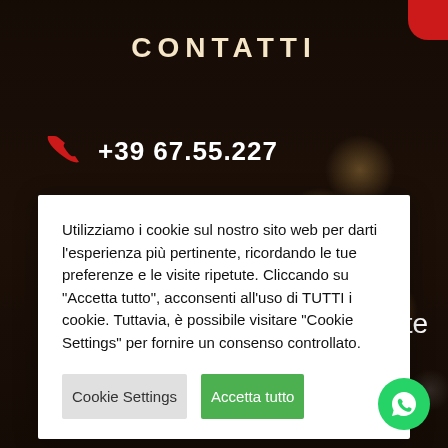CONTATTI
+39 67.55.227
Utilizziamo i cookie sul nostro sito web per darti l'esperienza più pertinente, ricordando le tue preferenze e le visite ripetute. Cliccando su "Accetta tutto", acconsenti all'uso di TUTTI i cookie. Tuttavia, è possibile visitare "Cookie Settings" per fornire un consenso controllato.
Cookie Settings
Accetta tutto
Usmate